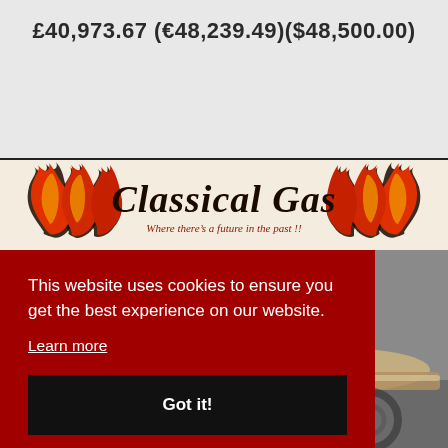£40,973.67 (€48,239.49)($48,500.00)
[Figure (logo): Classical Gas logo with flames. Text reads 'Classical Gas' and tagline 'Where there's a future in the past!!']
This website uses cookies to ensure you get the best experience on our website.
Learn more
Got it!
[Figure (photo): Partial view of a motorcycle, showing seat and chrome parts]